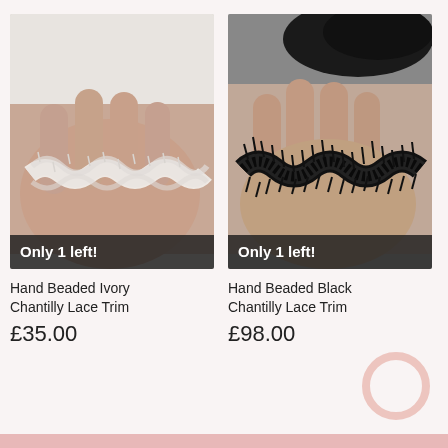[Figure (photo): Hand holding ivory/cream beaded Chantilly lace trim against light background. Badge at bottom reads 'Only 1 left!']
[Figure (photo): Hand holding black beaded Chantilly lace trim against light background. Badge at bottom reads 'Only 1 left!']
Hand Beaded Ivory Chantilly Lace Trim
£35.00
Hand Beaded Black Chantilly Lace Trim
£98.00